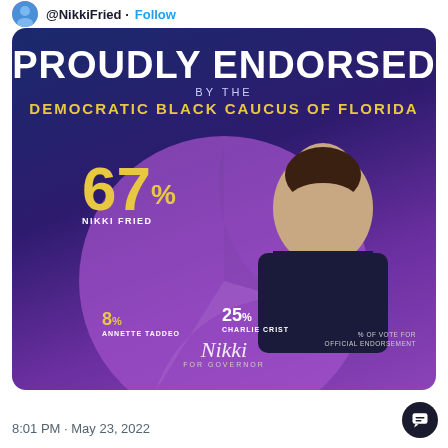@NikkiFried · Follow
[Figure (infographic): Campaign endorsement graphic with dark blue/purple gradient background. Title reads 'PROUDLY ENDORSED BY THE DEMOCRATIC BLACK CAUCUS OF FLORIDA'. Shows a pie/donut chart with 67% Nikki Fried (gold), 25% Charlie Crist (white), 8% Annette Taddeo (gold). Photo of Nikki Fried overlays the circle. Nikki signature at bottom.]
8:01 PM · May 23, 2022